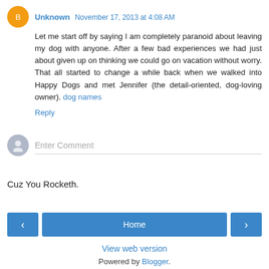Unknown  November 17, 2013 at 4:08 AM
Let me start off by saying I am completely paranoid about leaving my dog with anyone. After a few bad experiences we had just about given up on thinking we could go on vacation without worry. That all started to change a while back when we walked into Happy Dogs and met Jennifer (the detail-oriented, dog-loving owner). dog names
Reply
Enter Comment
Cuz You Rocketh.
Home
View web version
Powered by Blogger.